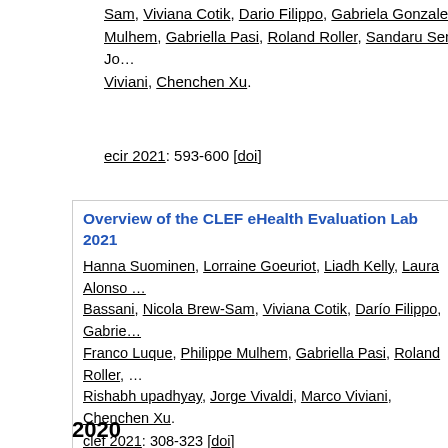Sam, Viviana Cotik, Dario Filippo, Gabriela Gonzalez Saez, Fra... Mulhem, Gabriella Pasi, Roland Roller, Sandaru Seneviratne, Jo... Viviani, Chenchen Xu.
ecir 2021: 593-600 [doi]
Overview of the CLEF eHealth Evaluation Lab 2021
Hanna Suominen, Lorraine Goeuriot, Liadh Kelly, Laura Alonso ... Bassani, Nicola Brew-Sam, Viviana Cotik, Darío Filippo, Gabrie... Franco Luque, Philippe Mulhem, Gabriella Pasi, Roland Roller, ... Rishabh upadhyay, Jorge Vivaldi, Marco Viviani, Chenchen Xu.
clef 2021: 308-323 [doi]
2020
Overview of the CLEF eHealth Evaluation Lab 2020
Lorraine Goeuriot, Hanna Suominen, Liadh Kelly, Antonio Miran... Krallinger, Zhengyang Liu, Gabriella Pasi, Gabriela Gonzalez Sa... Chenchen Xu.